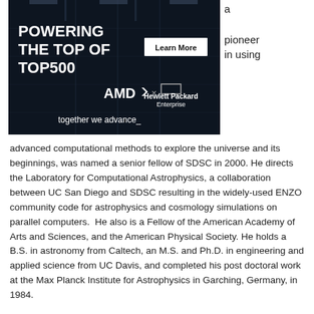[Figure (advertisement): AMD x Hewlett Packard Enterprise advertisement showing a dark data center with text 'POWERING THE TOP OF TOP500', a 'Learn More' button, AMD and HPE logos, and tagline 'together we advance_']
a pioneer in using
advanced computational methods to explore the universe and its beginnings, was named a senior fellow of SDSC in 2000. He directs the Laboratory for Computational Astrophysics, a collaboration between UC San Diego and SDSC resulting in the widely-used ENZO community code for astrophysics and cosmology simulations on parallel computers.  He also is a Fellow of the American Academy of Arts and Sciences, and the American Physical Society. He holds a B.S. in astronomy from Caltech, an M.S. and Ph.D. in engineering and applied science from UC Davis, and completed his post doctoral work at the Max Planck Institute for Astrophysics in Garching, Germany, in 1984.